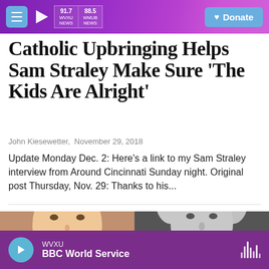91.7 WVXU NEWS | 88.5 WMUB NEWS | Donate
Catholic Upbringing Helps Sam Straley Make Sure 'The Kids Are Alright'
John Kiesewetter,  November 29, 2018
Update Monday Dec. 2: Here's a link to my Sam Straley interview from Around Cincinnati Sunday night. Original post Thursday, Nov. 29: Thanks to his...
[Figure (photo): Two photos side by side: left shows a young blond man (Sam Straley), right shows an older man with white hair in black and white]
WVXU  BBC World Service